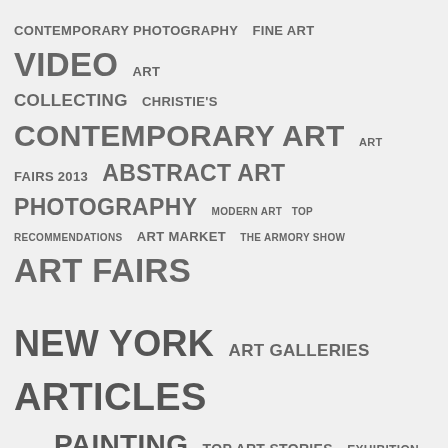[Figure (infographic): Tag cloud with art-related keywords in varying font sizes and weights: CONTEMPORARY PHOTOGRAPHY, FINE ART, VIDEO, ART, COLLECTING, CHRISTIE'S, CONTEMPORARY ART, ART FAIRS 2013, ABSTRACT ART, PHOTOGRAPHY, MODERN ART, TOP RECOMMENDATIONS, ART MARKET, THE ARMORY SHOW, ART FAIRS, NEW YORK, ART GALLERIES, ARTICLES, PAINTING, TOP ART STORIES, EXHIBITION]
DISCOVER ART WITH ArtEx
[Figure (photo): Two artwork images side by side: left is a solid red abstract painting; right is a Chagall-style painting of a bride with a green veil holding flowers, in black and white dress]